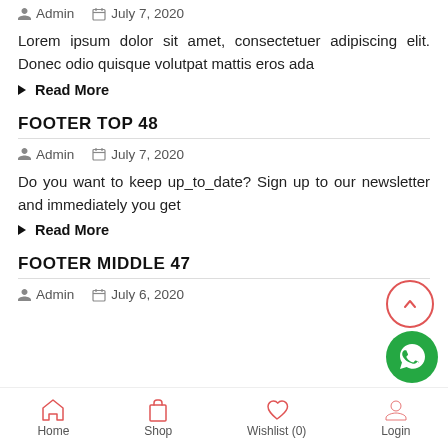Admin   July 7, 2020
Lorem ipsum dolor sit amet, consectetuer adipiscing elit. Donec odio quisque volutpat mattis eros ada
Read More
FOOTER TOP 48
Admin   July 7, 2020
Do you want to keep up_to_date? Sign up to our newsletter and immediately you get
Read More
FOOTER MIDDLE 47
Admin   July 6, 2020
Home   Shop   Wishlist (0)   Login